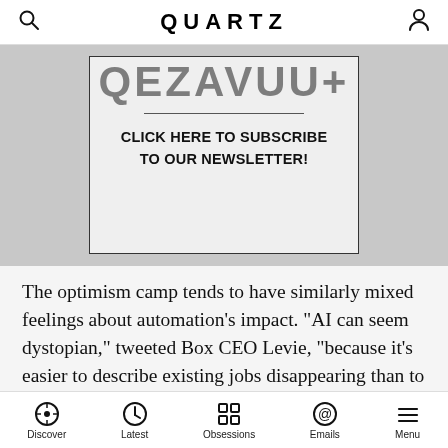QUARTZ
[Figure (other): Quartz newsletter subscription banner with partially cropped large text at top, a horizontal divider, and 'CLICK HERE TO SUBSCRIBE TO OUR NEWSLETTER!' call to action text]
The optimism camp tends to have similarly mixed feelings about automation’s impact. “AI can seem dystopian,” tweeted Box CEO Levie, “because it’s easier to describe existing jobs disappearing than to imagine industries that never existed appearing.” He doesn’t deny that automated technology will make some labor obsolete—he just focuses on the long-term, big-
Discover | Latest | Obsessions | Emails | Menu